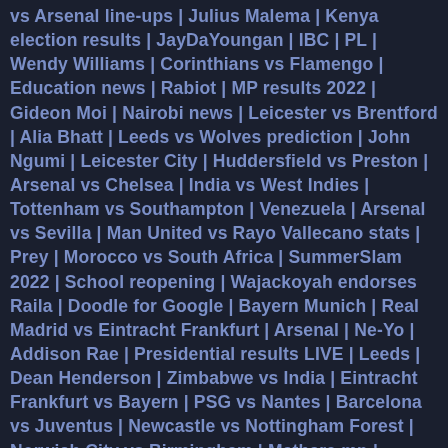vs Arsenal line-ups | Julius Malema | Kenya election results | JayDaYoungan | IBC | PL | Wendy Williams | Corinthians vs Flamengo | Education news | Rabiot | MP results 2022 | Gideon Moi | Nairobi news | Leicester vs Brentford | Alia Bhatt | Leeds vs Wolves prediction | John Ngumi | Leicester City | Huddersfield vs Preston | Arsenal vs Chelsea | India vs West Indies | Tottenham vs Southampton | Venezuela | Arsenal vs Sevilla | Man United vs Rayo Vallecano stats | Prey | Morocco vs South Africa | SummerSlam 2022 | School reopening | Wajackoyah endorses Raila | Doodle for Google | Bayern Munich | Real Madrid vs Eintracht Frankfurt | Arsenal | Ne-Yo | Addison Rae | Presidential results LIVE | Leeds | Dean Henderson | Zimbabwe vs India | Eintracht Frankfurt vs Bayern | PSG vs Nantes | Barcelona vs Juventus | Newcastle vs Nottingham Forest | Norwich City vs Birmingham | Mathare mp | Tabitha Karanja | Atwoli | West Ham vs Man City Prediction | Teddy Riner Jeff...